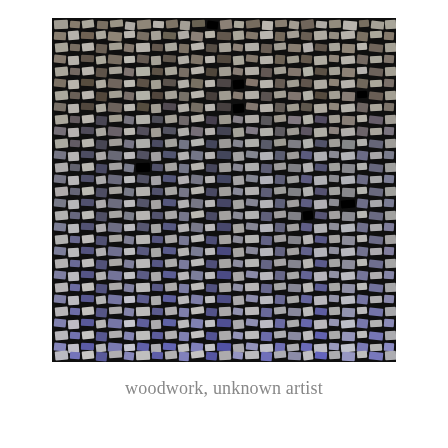[Figure (photo): Close-up photograph of a woodwork mosaic made from small irregular pieces of wood arranged densely on a dark background, showing varying shades of grey, silver, and brown. The pieces appear to be small wood chips or fragments arranged in a textured mosaic pattern.]
woodwork, unknown artist